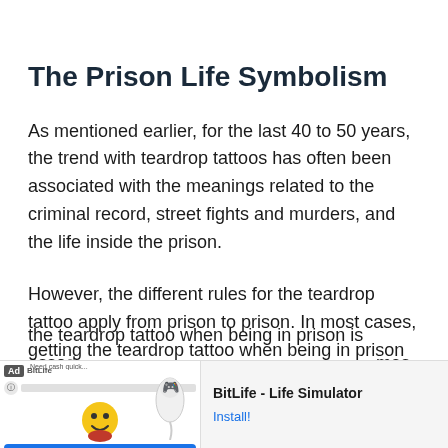The Prison Life Symbolism
As mentioned earlier, for the last 40 to 50 years, the trend with teardrop tattoos has often been associated with the meanings related to the criminal record, street fights and murders, and the life inside the prison.
However, the different rules for the teardrop tattoo apply from prison to prison. In most cases, getting the teardrop tattoo when being in prison is associated with [cut off] ...mes [cut off]
[Figure (screenshot): Mobile advertisement banner for BitLife - Life Simulator app, showing Ad badge, app icon with emoji character, and Install button]